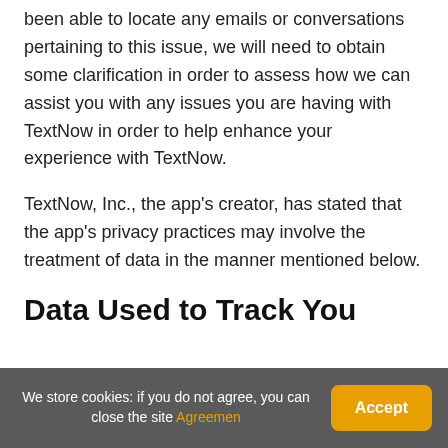been able to locate any emails or conversations pertaining to this issue, we will need to obtain some clarification in order to assess how we can assist you with any issues you are having with TextNow in order to help enhance your experience with TextNow.
TextNow, Inc., the app's creator, has stated that the app's privacy practices may involve the treatment of data in the manner mentioned below.
Data Used to Track You
[Figure (other): Purple/indigo colored bar at the bottom of the main content area]
We store cookies: if you do not agree, you can close the site Agreemen